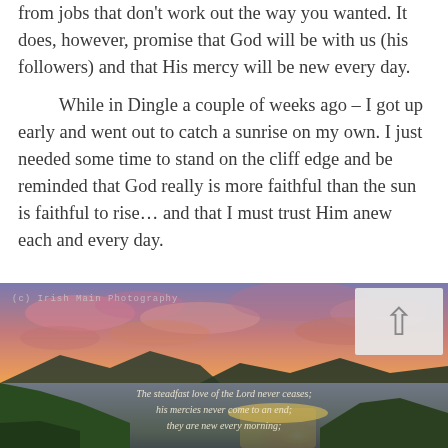from jobs that don't work out the way you wanted. It does, however, promise that God will be with us (his followers) and that His mercy will be new every day.
While in Dingle a couple of weeks ago – I got up early and went out to catch a sunrise on my own. I just needed some time to stand on the cliff edge and be reminded that God really is more faithful than the sun is faithful to rise… and that I must trust Him anew each and every day.
[Figure (photo): Photograph of a vivid coastal sunset over mountainous cliffs with purple and orange sky, ocean visible. A white up-arrow icon is in the top right corner. Watermark text reads '(c) Irish Main Photography'. Overlaid italic script text reads: 'The steadfast love of the Lord never ceases; his mercies never come to an end; they are new every morning;']